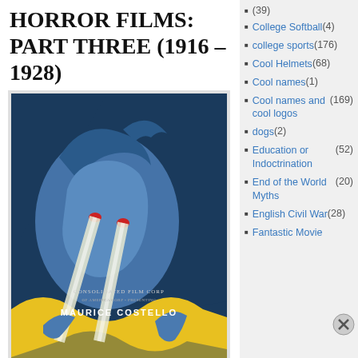HORROR FILMS: PART THREE (1916 – 1928)
[Figure (illustration): Vintage movie poster for a Maurice Costello film produced by Consolidated Film Corp. Features a stylized blue figure with glowing eyes and yellow background with abstract wave shapes.]
Advertisements
(39)
College Softball (4)
college sports (176)
Cool Helmets (68)
Cool names (1)
Cool names and cool logos (169)
dogs (2)
Education or Indoctrination (52)
End of the World Myths (20)
English Civil War (28)
Fantastic Movie